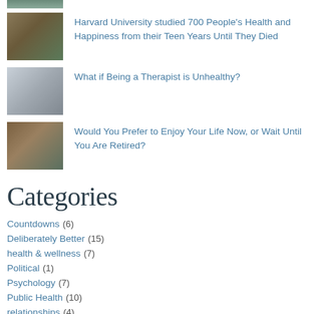[Figure (photo): Partial thumbnail image at top, cropped]
[Figure (photo): Thumbnail of people or animals outdoors]
Harvard University studied 700 People's Health and Happiness from their Teen Years Until They Died
[Figure (photo): Thumbnail of silhouettes in misty scene]
What if Being a Therapist is Unhealthy?
[Figure (photo): Thumbnail of person in hammock outdoors]
Would You Prefer to Enjoy Your Life Now, or Wait Until You Are Retired?
Categories
Countdowns (6)
Deliberately Better (15)
health & wellness (7)
Political (1)
Psychology (7)
Public Health (10)
relationships (4)